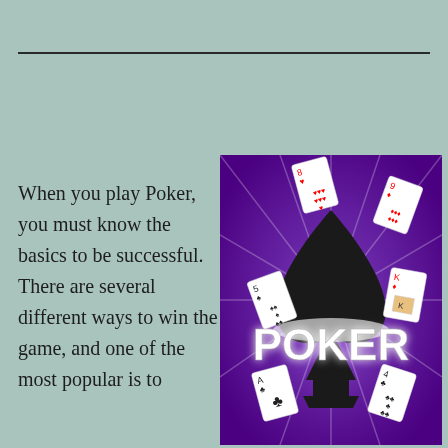When you play Poker, you must know the basics to be successful. There are several different ways to win the game, and one of the most popular is to
[Figure (illustration): Poker promotional image with purple background, large black spade symbol in center, bold white 'POKER' text across the middle, and playing cards (hearts, diamonds, spades, clubs) scattered around the spade]